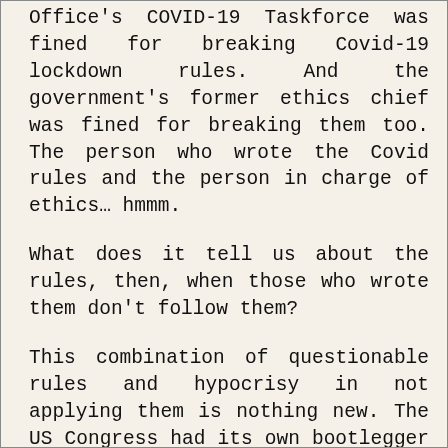Office's COVID-19 Taskforce was fined for breaking Covid-19 lockdown rules. And the government's former ethics chief was fined for breaking them too. The person who wrote the Covid rules and the person in charge of ethics… hmmm.
What does it tell us about the rules, then, when those who wrote them don't follow them?
This combination of questionable rules and hypocrisy in not applying them is nothing new. The US Congress had its own bootlegger with storage on site during prohibition, after all. The Royal Navy quaffed French brandy while hunting down smugglers for bringing the same stuff to the UK during the Napoleonic Wars. JFK hoarded Cuban cigars before imposing the embargo against them.